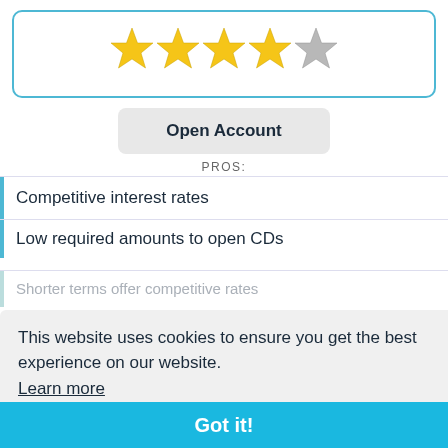[Figure (other): 4 gold stars and 1 gray star rating (4 out of 5) inside a rounded blue-bordered box]
Open Account
PROS:
Competitive interest rates
Low required amounts to open CDs
Shorter terms offer competitive rates
CONS:
This website uses cookies to ensure you get the best experience on our website. Learn more
Limited personal accounts offered
Got it!